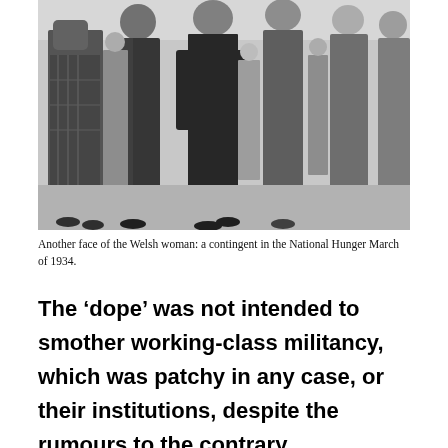[Figure (photo): Black and white photograph showing a group of women marching in the National Hunger March of 1934. The women are dressed in coats and skirts typical of the 1930s, walking together on a street.]
Another face of the Welsh woman: a contingent in the National Hunger March of 1934.
The ‘dope’ was not intended to smother working-class militancy, which was patchy in any case, or their institutions, despite the rumours to the contrary.